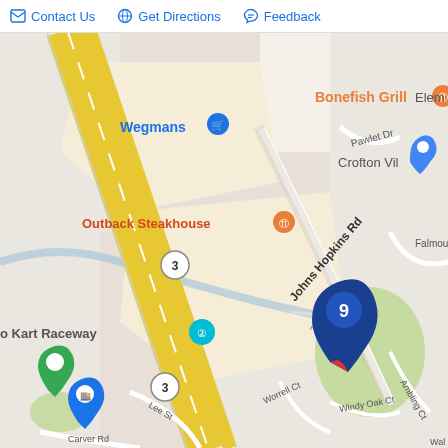Contact Us   Get Directions   Feedback
[Figure (map): Google Maps screenshot showing Crofton, MD area with Route 3/Crofton Parkway running diagonally. Landmarks visible include Wegmans, Bonefish Grill, Outback Steakhouse, Go Kart Raceway, Crofton Village. A numbered map pin '9' is placed near the center of the map. Street names include Johns Hopkins Rd, Pawlet Dr, Falmout, Worrell Ct, Windy Oak Ct, Lee St, Carver Rd, Alley, Ambling Ct.]